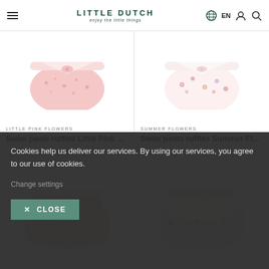LITTLE DUTCH — enjoy the little things | EN
[Figure (photo): Product photo of swim pants ruffles Little Pink Flowers - top portion of pink floral swim diaper/pants]
[Figure (photo): Product photo of swim pants ruffles Summer Flowers - top portion of white/pink floral swim diaper/pants]
LITTLE PINK FLOWERS
Swim pants ruffles Little Pink ...
SUMMER FLOWERS
Swim pants ruffles Summer Fl...
[Figure (photo): Product photo of swim pants ruffles Little Pink Flowers with ruffles - pink floral ruffle swim pants]
[Figure (photo): Product photo of swim pants ruffles Summer Flowers with ruffles - white/pink floral ruffle swim pants]
Cookies help us deliver our services. By using our services, you agree to our use of cookies.
Change settings
✕ CLOSE
LITTLE PINK FLOWERS
Swim pants ruffles Little Pink ...
SUMMER FLOWERS
Swim pants ruffles Summer Fl...